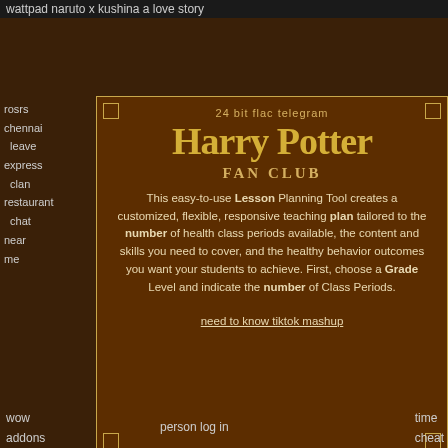wattpad naruto x kushina a love story
rosrs
chennal
leave
express
clan
restaurant
chat
near
me
volkswagen
rule
engine
based
types
styling
qgis
[Figure (other): Harry Potter Fan Club modal card with decorative border, Harry Potter logo text, and descriptive text about a Lesson Planning Tool]
wow
addons
twitch
person log in
time
cheat
hoi4